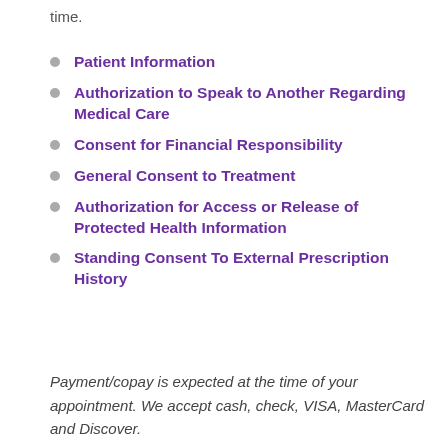time.
Patient Information
Authorization to Speak to Another Regarding Medical Care
Consent for Financial Responsibility
General Consent to Treatment
Authorization for Access or Release of Protected Health Information
Standing Consent To External Prescription History
Payment/copay is expected at the time of your appointment. We accept cash, check, VISA, MasterCard and Discover.